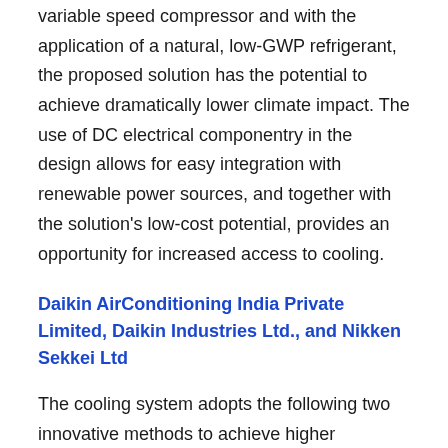variable speed compressor and with the application of a natural, low-GWP refrigerant, the proposed solution has the potential to achieve dramatically lower climate impact. The use of DC electrical componentry in the design allows for easy integration with renewable power sources, and together with the solution's low-cost potential, provides an opportunity for increased access to cooling.
Daikin AirConditioning India Private Limited, Daikin Industries Ltd., and Nikken Sekkei Ltd
The cooling system adopts the following two innovative methods to achieve higher efficiency and lower climate impact cooling solution. First, a multi-